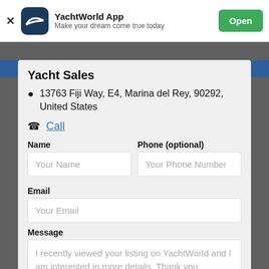[Figure (screenshot): YachtWorld App banner with logo, tagline 'Make your dream come true today', and green Open button]
Yacht Sales
13763 Fiji Way, E4, Marina del Rey, 90292, United States
Call
Name
Phone (optional)
Email
Message
I recently viewed your listing on YachtWorld and I am interested in more details. Thank you.
Contact Broker